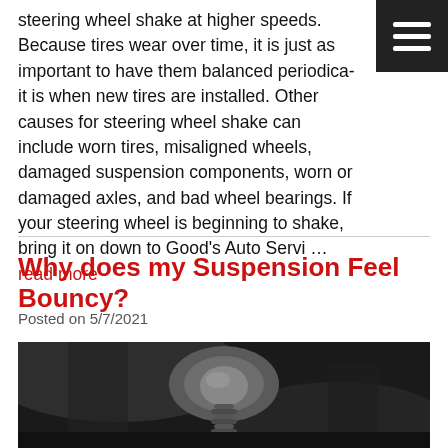steering wheel shake at higher speeds. Because tires wear over time, it is just as important to have them balanced periodically as it is when new tires are installed. Other causes for steering wheel shake can include worn tires, misaligned wheels, damaged suspension components, worn or damaged axles, and bad wheel bearings. If your steering wheel is beginning to shake, bring it on down to Good's Auto Servi … read more
Why does my Suspension Feel Bouncy?
Posted on 5/7/2021
[Figure (photo): Close-up photo of a car suspension component, showing a spring/strut assembly and surrounding dark metal parts of the undercarriage.]